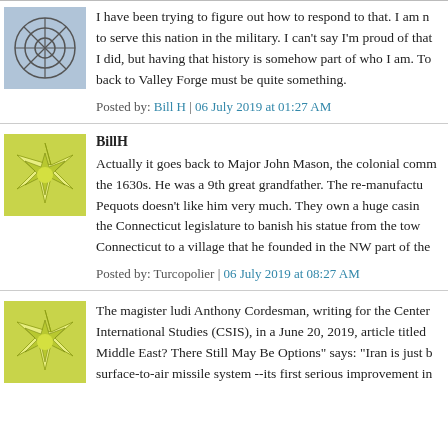I have been trying to figure out how to respond to that. I am not sure how to serve this nation in the military. I can't say I'm proud of that, but I did, but having that history is somehow part of who I am. To think it goes back to Valley Forge must be quite something.
Posted by: Bill H | 06 July 2019 at 01:27 AM
BillH
Actually it goes back to Major John Mason, the colonial comm... the 1630s. He was a 9th great grandfather. The re-manufactu... Pequots doesn't like him very much. They own a huge casin... the Connecticut legislature to banish his statue from the tow... Connecticut to a village that he founded in the NW part of the...
Posted by: Turcopolier | 06 July 2019 at 08:27 AM
The magister ludi Anthony Cordesman, writing for the Center... International Studies (CSIS), in a June 20, 2019, article titled... Middle East? There Still May Be Options" says: "Iran is just b... surface-to-air missile system --its first serious improvement in...